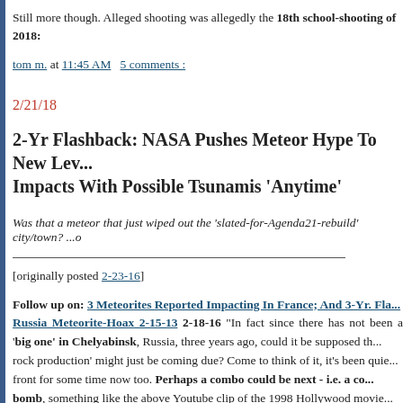Still more though. Alleged shooting was allegedly the 18th school-shooting of 2018:
tom m. at 11:45 AM   5 comments :
2/21/18
2-Yr Flashback: NASA Pushes Meteor Hype To New Lev... Impacts With Possible Tsunamis 'Anytime'
Was that a meteor that just wiped out the 'slated-for-Agenda21-rebuild' city/town? ...o
[originally posted 2-23-16]
Follow up on: 3 Meteorites Reported Impacting In France; And 3-Yr. Fla... Russia Meteorite-Hoax 2-15-13 2-18-16 "In fact since there has not been a 'big one' in Chelyabinsk, Russia, three years ago, could it be supposed th... rock production' might just be coming due? Come to think of it, it's been quie... front for some time now too. Perhaps a combo could be next - i.e. a co... bomb, something like the above Youtube clip of the 1998 Hollywood movie... the 1999 Rescue Heroes Tsunami-bomb episode [3rd link above (see post)]... on the Kabalist numerology though. Only when the numbers line up. Only onl... what you are seeing if/when you see some thing - because it is a sure thing... some 'thing' at some point" [see post]